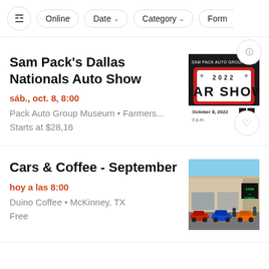Online | Date | Category | Form
Sam Pack's Dallas Nationals Auto Show
sáb., oct. 8, 8:00
Pack Auto Group Museum • Farmers...
Starts at $28,16
[Figure (photo): Sam Pack Auto Group Dallas Car Show event poster. Shows a license plate design reading '2022 CAR SHOW' in red and black. Text: October 8, 2022, 0 p.m.]
Cars & Coffee - September
hoy a las 8:00
Duino Coffee • McKinney, TX
Free
[Figure (photo): Outdoor parking lot with sports cars parked in front of a shopping center. Green neon sign reads 'Cars & Coffee'. Multiple colorful cars visible.]